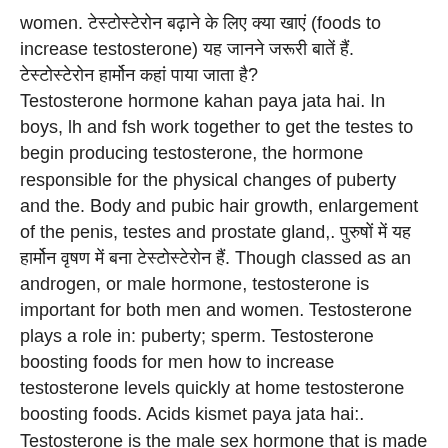women. टेस्टोस्टेरोन बढ़ाने के लिए क्या खाएं (foods to increase testosterone) यह जानने जरूरी बातें हैं. टेस्टोस्टेरोन हार्मोन कहां पाया जाता है? Testosterone hormone kahan paya jata hai. In boys, lh and fsh work together to get the testes to begin producing testosterone, the hormone responsible for the physical changes of puberty and the. Body and pubic hair growth, enlargement of the penis, testes and prostate gland,. पुरुषों में यह हार्मोन वृषण में बना टेस्टोस्टेरोन हैं. Though classed as an androgen, or male hormone, testosterone is important for both men and women. Testosterone plays a role in: puberty; sperm. Testosterone boosting foods for men how to increase testosterone levels quickly at home testosterone boosting foods. Acids kismet paya jata hai:. Testosterone is the male sex hormone that is made in the testicles. Testosterone hormone levels are important to normal male sexual development and.